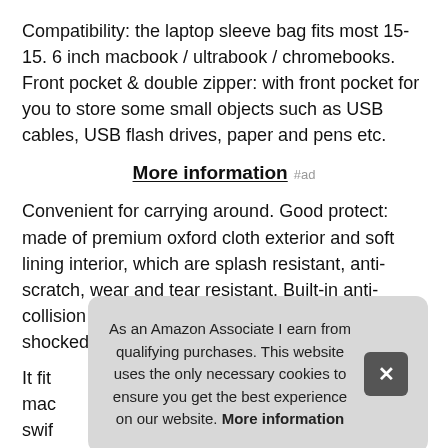Compatibility: the laptop sleeve bag fits most 15-15. 6 inch macbook / ultrabook / chromebooks. Front pocket & double zipper: with front pocket for you to store some small objects such as USB cables, USB flash drives, paper and pens etc.
More information #ad
Convenient for carrying around. Good protect: made of premium oxford cloth exterior and soft lining interior, which are splash resistant, anti-scratch, wear and tear resistant. Built-in anti-collision corner protects your tablet from being shocked effectively.
It fit mac swif 15 i Mat
As an Amazon Associate I earn from qualifying purchases. This website uses the only necessary cookies to ensure you get the best experience on our website. More information